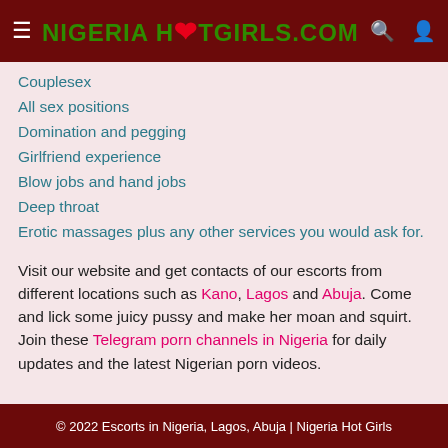NIGERIA HOTGIRLS.COM
Couplesex
All sex positions
Domination and pegging
Girlfriend experience
Blow jobs and hand jobs
Deep throat
Erotic massages plus any other services you would ask for.
Visit our website and get contacts of our escorts from different locations such as Kano, Lagos and Abuja. Come and lick some juicy pussy and make her moan and squirt. Join these Telegram porn channels in Nigeria for daily updates and the latest Nigerian porn videos.
© 2022 Escorts in Nigeria, Lagos, Abuja | Nigeria Hot Girls